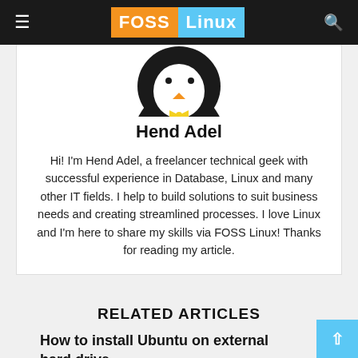FOSS Linux
[Figure (illustration): Cartoon penguin (Tux) mascot — top portion visible showing head and belly]
Hend Adel
Hi! I'm Hend Adel, a freelancer technical geek with successful experience in Database, Linux and many other IT fields. I help to build solutions to suit business needs and creating streamlined processes. I love Linux and I'm here to share my skills via FOSS Linux! Thanks for reading my article.
RELATED ARTICLES
How to install Ubuntu on external hard drive